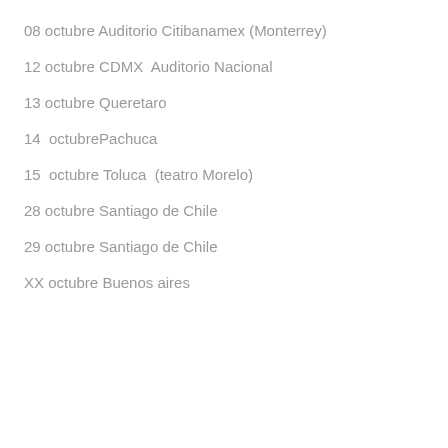08 octubre Auditorio Citibanamex (Monterrey)
12 octubre CDMX  Auditorio Nacional
13 octubre Queretaro
14  octubrePachuca
15  octubre Toluca  (teatro Morelo)
28 octubre Santiago de Chile
29 octubre Santiago de Chile
XX octubre Buenos aires